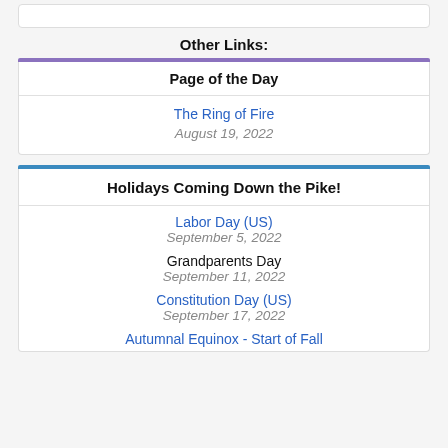Other Links:
Page of the Day
The Ring of Fire
August 19, 2022
Holidays Coming Down the Pike!
Labor Day (US)
September 5, 2022
Grandparents Day
September 11, 2022
Constitution Day (US)
September 17, 2022
Autumnal Equinox - Start of Fall